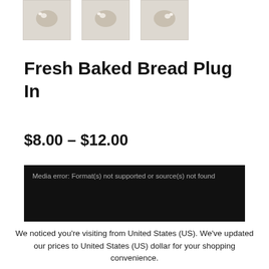[Figure (photo): Three small product thumbnail images of Fresh Baked Bread Plug In, shown side by side at top of page]
Fresh Baked Bread Plug In
$8.00 – $12.00
[Figure (screenshot): Black video player box showing media error message: Format(s) not supported or source(s) not found]
We noticed you're visiting from United States (US). We've updated our prices to United States (US) dollar for your shopping convenience.